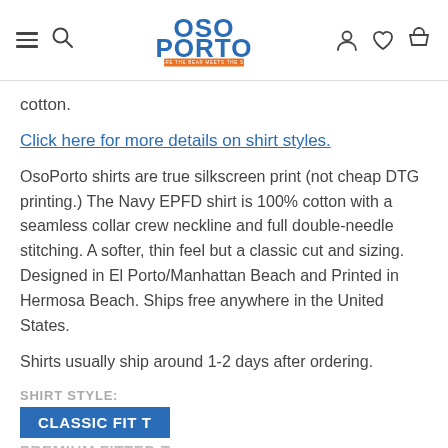OSO PORTO - WHERE THE BEAR MEETS THE SURF
cotton.
Click here for more details on shirt styles.
OsoPorto shirts are true silkscreen print (not cheap DTG printing.) The Navy EPFD shirt is 100% cotton with a seamless collar crew neckline and full double-needle stitching. A softer, thin feel but a classic cut and sizing. Designed in El Porto/Manhattan Beach and Printed in Hermosa Beach. Ships free anywhere in the United States.
Shirts usually ship around 1-2 days after ordering.
SHIRT STYLE:
CLASSIC FIT T
PREMIUM FITTED T